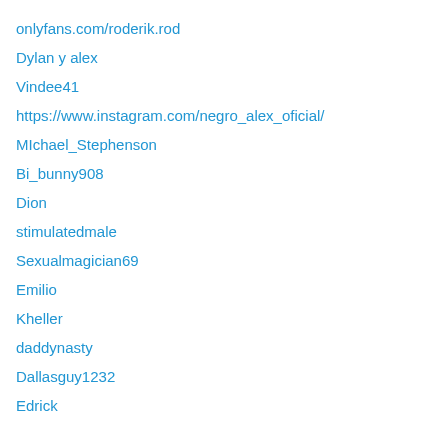onlyfans.com/roderik.rod
Dylan y alex
Vindee41
https://www.instagram.com/negro_alex_oficial/
MIchael_Stephenson
Bi_bunny908
Dion
stimulatedmale
Sexualmagician69
Emilio
Kheller
daddynasty
Dallasguy1232
Edrick